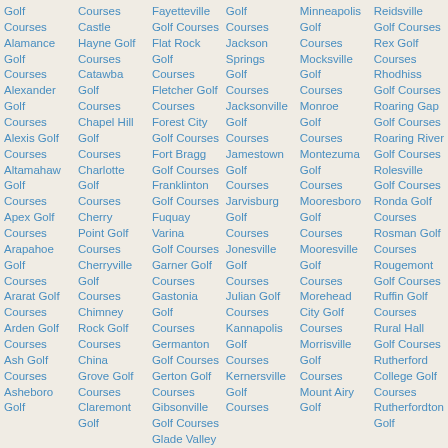Golf Courses
Alamance Golf Courses
Alexander Golf Courses
Alexis Golf Courses
Altamahaw Golf Courses
Apex Golf Courses
Arapahoe Golf Courses
Ararat Golf Courses
Arden Golf Courses
Ash Golf Courses
Asheboro Golf
Courses
Castle Hayne Golf Courses
Catawba Golf Courses
Chapel Hill Golf Courses
Charlotte Golf Courses
Cherry Point Golf Courses
Cherryville Golf Courses
Chimney Rock Golf Courses
China Grove Golf Courses
Claremont Golf
Fayetteville Golf Courses
Flat Rock Golf Courses
Fletcher Golf Courses
Forest City Golf Courses
Fort Bragg Golf Courses
Franklinton Golf Courses
Fuquay Varina Golf Courses
Garner Golf Courses
Gastonia Golf Courses
Germanton Golf Courses
Gerton Golf Courses
Gibsonville Golf Courses
Glade Valley Golf Courses
Golf Courses
Jackson Springs Golf Courses
Jacksonville Golf Courses
Jamestown Golf Courses
Jarvisburg Golf Courses
Jonesville Golf Courses
Julian Golf Courses
Kannapolis Golf Courses
Kernersville Golf Courses
Minneapolis Golf Courses
Mocksville Golf Courses
Monroe Golf Courses
Montezuma Golf Courses
Mooresboro Golf Courses
Mooresville Golf Courses
Morehead City Golf Courses
Morrisville Golf Courses
Mount Airy Golf
Reidsville Golf Courses
Rex Golf Courses
Rhodhiss Golf Courses
Roaring Gap Golf Courses
Roaring River Golf Courses
Rolesville Golf Courses
Ronda Golf Courses
Rosman Golf Courses
Rougemont Golf Courses
Ruffin Golf Courses
Rural Hall Golf Courses
Rutherford College Golf Courses
Rutherfordton Golf